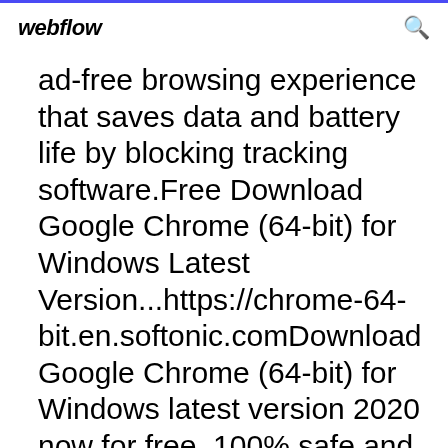webflow
ad-free browsing experience that saves data and battery life by blocking tracking software.Free Download Google Chrome (64-bit) for Windows Latest Version...https://chrome-64-bit.en.softonic.comDownload Google Chrome (64-bit) for Windows latest version 2020 now for free, 100% safe and virus free. Google Chrome (64-bit) has been downloaded 16981288 times this month! Click now to